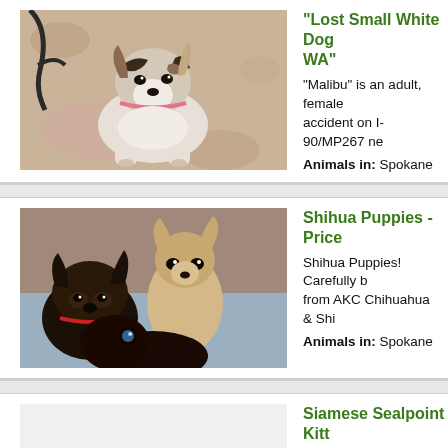[Figure (photo): White and black adult female dog (Malibu) lying on a floral carpet, looking at camera]
"Lost Small White Dog WA"
"Malibu" is an adult, female accident on I-90/MP267 ne
Animals in: Spokane
[Figure (photo): Three small puppies: a dark Shih-Tzu mix on the left, a tan Chihuahua in the middle, and a very dark brown/black puppy in front, on a light blue blanket]
Shihua Puppies - Price
Shihua Puppies! Carefully b from AKC Chihuahua & Shi
Animals in: Spokane
Siamese Sealpoint Kitt